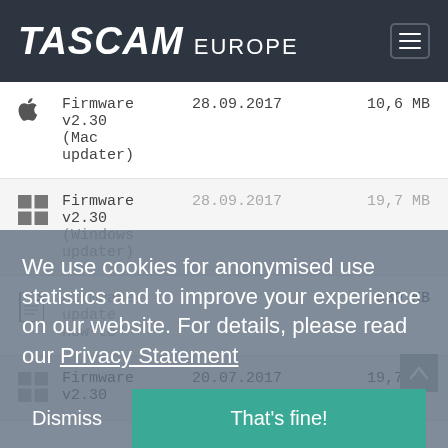TASCAM EUROPE
| Icon | Name | Date | Size |
| --- | --- | --- | --- |
| [Apple] | Firmware v2.30 (Mac updater) | 28.09.2017 | 10,6 MB |
| [Windows] | Firmware v2.30 (Windows updater) | 28.09.2017 | 19,7 MB |
| [File] | Firmware update how-to |  | 680 KB |
| [Windows] | Firmware v2.30 | 20.07.2017 | 19,7 MB |
We use cookies for anonymised use statistics and to improve your experience on our website. For details, please read our Privacy Statement
Dismiss   That's fine!